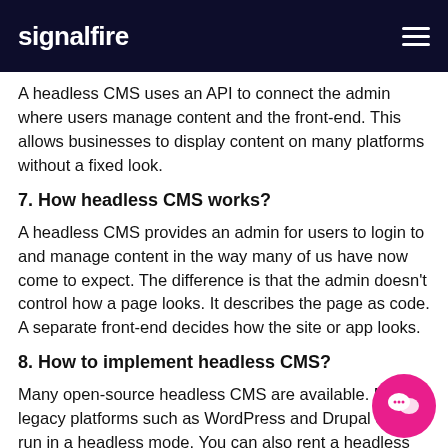signalfire
A headless CMS uses an API to connect the admin where users manage content and the front-end. This allows businesses to display content on many platforms without a fixed look.
7. How headless CMS works?
A headless CMS provides an admin for users to login to and manage content in the way many of us have now come to expect. The difference is that the admin doesn't control how a page looks. It describes the page as code. A separate front-end decides how the site or app looks.
8. How to implement headless CMS?
Many open-source headless CMS are available. Many legacy platforms such as WordPress and Drupal can run in a headless mode. You can also rent a headless CMS from companies that host it and your data on their servers.
9. Benefits of a headless CMS?